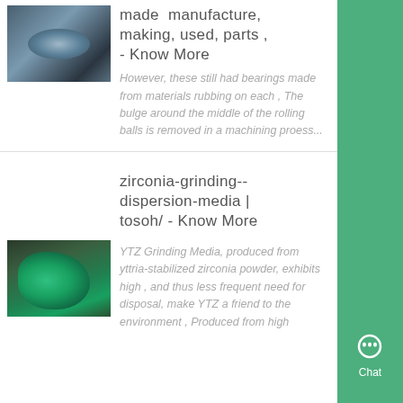[Figure (photo): Industrial cylindrical metal component, appears to be a large roller or bearing, metallic silver/blue tones in a factory setting]
made  manufacture, making, used, parts , - Know More
However, these still had bearings made from materials rubbing on each , The bulge around the middle of the rolling balls is removed in a machining proess...
zirconia-grinding--dispersion-media | tosoh/ - Know More
[Figure (photo): Large green industrial grinding/milling machine in a factory setting]
YTZ Grinding Media, produced from yttria-stabilized zirconia powder, exhibits high , and thus less frequent need for disposal, make YTZ a friend to the environment , Produced from high